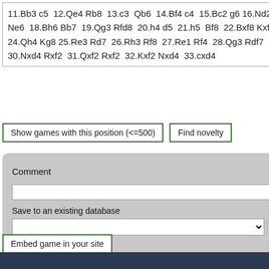11.Bb3 c5 12.Qe4 Rb8 13.c3 Qb6 14.Bf4 c4 15.Bc2 g6 16.Nd2 Ng7 17.Qf3 Ne6 18.Bh6 Bb7 19.Qg3 Rfd8 20.h4 d5 21.h5 Bf8 22.Bxf8 Kxf8 23.hxg6 fxg6 24.Qh4 Kg8 25.Re3 Rd7 26.Rh3 Rf8 27.Re1 Rf4 28.Qg3 Rdf7 29.Nf3 d4 30.Nxd4 Rxf2 31.Qxf2 Rxf2 32.Kxf2 Nxd4 33.cxd4
ECO C8
Event
https://www.c
Show games with this position (<=500)
Find novelty
Comment
Save to an existing database
or save to a new database
Embed game in your site